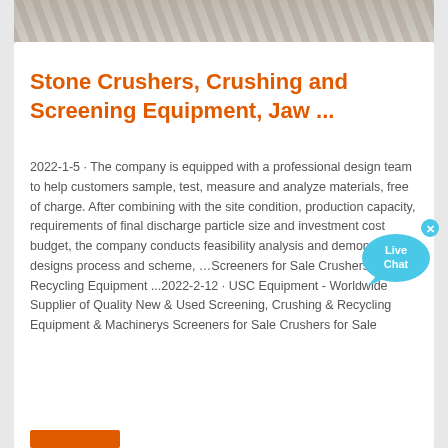[Figure (photo): Partial view of stone crushing/screening equipment machinery at top of page]
Stone Crushers, Crushing and Screening Equipment, Jaw ...
2022-1-5 · The company is equipped with a professional design team to help customers sample, test, measure and analyze materials, free of charge. After combining with the site condition, production capacity, requirements of final discharge particle size and investment cost budget, the company conducts feasibility analysis and demonstration, designs process and scheme, …Screeners for Sale Crushers for Sale Recycling Equipment ...2022-2-12 · USC Equipment - Worldwide Supplier of Quality New & Used Screening, Crushing & Recycling Equipment & Machinerys Screeners for Sale Crushers for Sale
[Figure (illustration): Live Chat button/widget — blue speech bubble with 'Live Chat' text and an X close button]